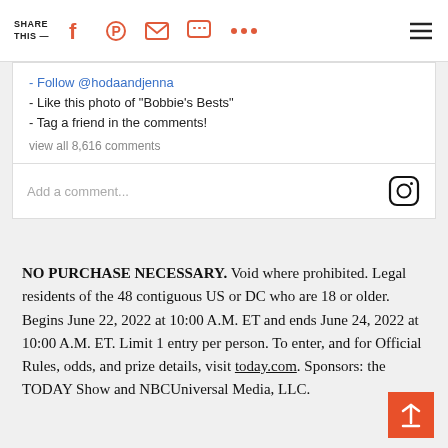SHARE THIS —
- Follow @hodaandjenna
- Like this photo of "Bobbie's Bests"
- Tag a friend in the comments!
view all 8,616 comments
Add a comment...
NO PURCHASE NECESSARY. Void where prohibited. Legal residents of the 48 contiguous US or DC who are 18 or older. Begins June 22, 2022 at 10:00 A.M. ET and ends June 24, 2022 at 10:00 A.M. ET. Limit 1 entry per person. To enter, and for Official Rules, odds, and prize details, visit today.com. Sponsors: the TODAY Show and NBCUniversal Media, LLC.